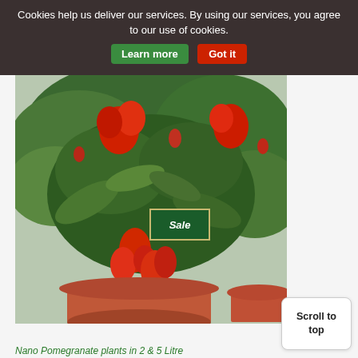Cookies help us deliver our services. By using our services, you agree to our use of cookies. Learn more  Got it
[Figure (photo): Potted pomegranate plant with red flowers and buds in a terracotta pot, with a 'Sale' badge overlaid]
Scroll to top
Nano Pomegranate plants in 2 & 5 Litre